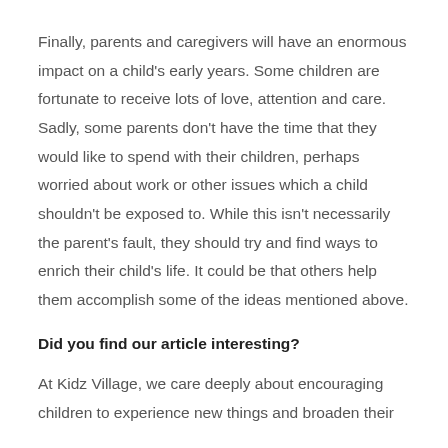Finally, parents and caregivers will have an enormous impact on a child's early years. Some children are fortunate to receive lots of love, attention and care. Sadly, some parents don't have the time that they would like to spend with their children, perhaps worried about work or other issues which a child shouldn't be exposed to. While this isn't necessarily the parent's fault, they should try and find ways to enrich their child's life. It could be that others help them accomplish some of the ideas mentioned above.
Did you find our article interesting?
At Kidz Village, we care deeply about encouraging children to experience new things and broaden their